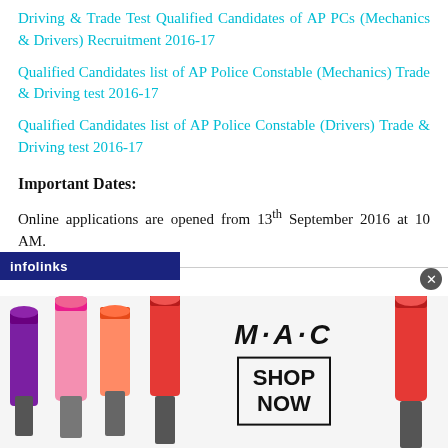Driving & Trade Test Qualified Candidates of AP PCs (Mechanics & Drivers) Recruitment 2016-17
Qualified Candidates list of AP Police Constable (Mechanics) Trade & Driving test 2016-17
Qualified Candidates list of AP Police Constable (Drivers) Trade & Driving test 2016-17
Important Dates:
Online applications are opened from 13th September 2016 at 10 AM.
Closing date of online applications is 13th October 2016 at 5
[Figure (other): MAC cosmetics advertisement banner with lipsticks and SHOP NOW button, with infolinks overlay bar at bottom]